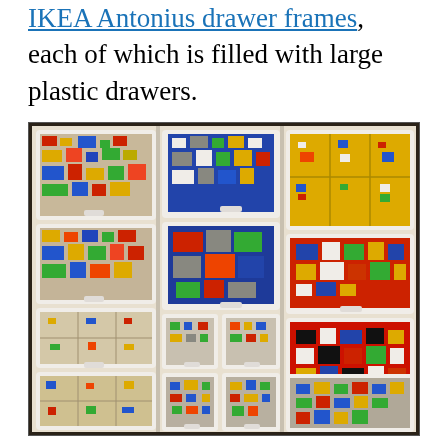IKEA Antonius drawer frames, each of which is filled with large plastic drawers.
[Figure (photo): Photo of IKEA Antonius drawer frames filled with large plastic drawers containing sorted LEGO bricks. The drawers are white with colorful (blue, yellow, red) inner bins, open to reveal various LEGO pieces organized by color and type.]